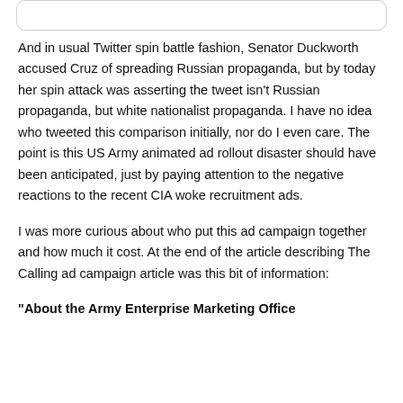[Figure (other): Rounded rectangle box at the top of the page, partially visible, likely containing a tweet or image above the current view.]
And in usual Twitter spin battle fashion, Senator Duckworth accused Cruz of spreading Russian propaganda, but by today her spin attack was asserting the tweet isn't Russian propaganda, but white nationalist propaganda. I have no idea who tweeted this comparison initially, nor do I even care. The point is this US Army animated ad rollout disaster should have been anticipated, just by paying attention to the negative reactions to the recent CIA woke recruitment ads.
I was more curious about who put this ad campaign together and how much it cost. At the end of the article describing The Calling ad campaign article was this bit of information:
"About the Army Enterprise Marketing Office